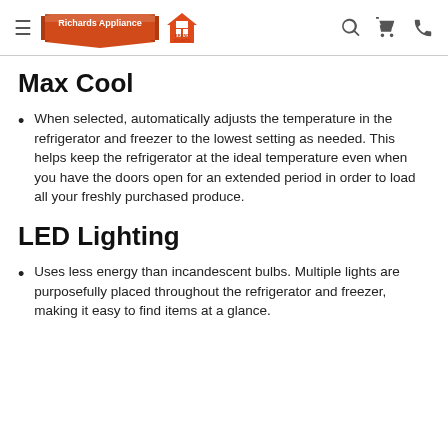Richards Appliance | Brand Source
Max Cool
When selected, automatically adjusts the temperature in the refrigerator and freezer to the lowest setting as needed. This helps keep the refrigerator at the ideal temperature even when you have the doors open for an extended period in order to load all your freshly purchased produce.
LED Lighting
Uses less energy than incandescent bulbs. Multiple lights are purposefully placed throughout the refrigerator and freezer, making it easy to find items at a glance.